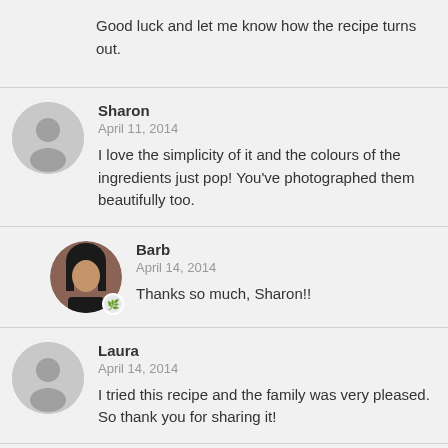Good luck and let me know how the recipe turns out.
Sharon
April 11, 2014
I love the simplicity of it and the colours of the ingredients just pop! You've photographed them beautifully too.
Barb
April 14, 2014
Thanks so much, Sharon!!
Laura
April 14, 2014
I tried this recipe and the family was very pleased. So thank you for sharing it!
Barb
April 14, 2014
That's great, Laura! I'm so happy your family enjoyed this 😊